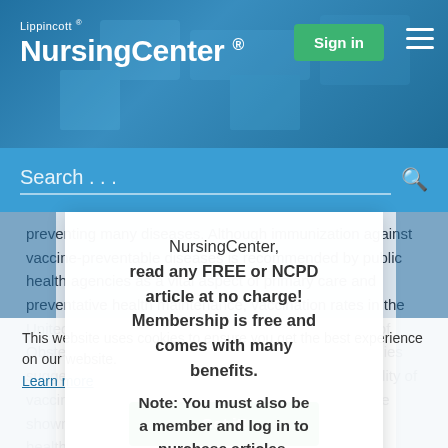[Figure (screenshot): Lippincott NursingCenter website header with teal/blue background, Sign in button, and hamburger menu icon]
Search ...
preventing many diseases. Although immunization against vaccine-preventable diseases is recommended by public health agencies as a vital aspect of primary care and preventative health maintenance, vaccination rates in the United States fall behind the goal (American College of Obstetricians and Gynecologists [ACOG], 2016). Studies suggest that there continue to be considerable variability of vaccines among some populations. Many studies have shown a strong and direct recommendation from a healthcare provider can have a major influence of acceptance of immunizations (ACOG, 2016). It is important that obstetricians/midwives routinely assess the vaccination status of their pregnant patients, have a focused
NursingCenter, read any FREE or NCPD article at no charge! Membership is free and comes with many benefits.
Note: You must also be a member and log in to purchase articles.
This website uses cookies to ensure you get the best experience on our website.
Learn more
Got it!
Register
Already a member?
Sign in